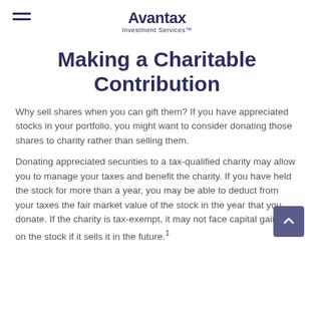Avantax Investment Services™
Making a Charitable Contribution
Why sell shares when you can gift them? If you have appreciated stocks in your portfolio, you might want to consider donating those shares to charity rather than selling them.
Donating appreciated securities to a tax-qualified charity may allow you to manage your taxes and benefit the charity. If you have held the stock for more than a year, you may be able to deduct from your taxes the fair market value of the stock in the year that you donate. If the charity is tax-exempt, it may not face capital gains tax on the stock if it sells it in the future.¹